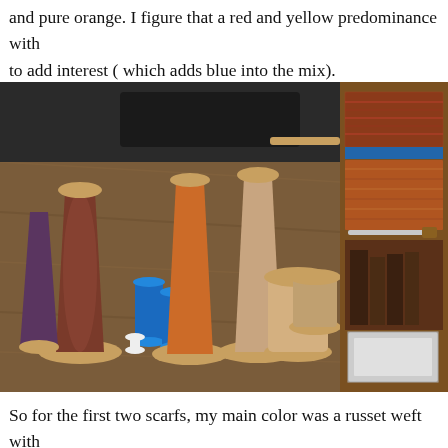and pure orange. I figure that a red and yellow predominance with to add interest ( which adds blue into the mix).
[Figure (photo): Spools and cones of thread/yarn on a wooden table: large brown/russet cones, orange cone, tan/beige cones, two small blue thread spools, all on yellow cardboard spools, with dark furniture in background.]
[Figure (photo): Woven fabric samples in russet, orange, brown tones with blue accents visible, alongside weaving tools on a wooden surface.]
So for the first two scarfs, my main color was a russet weft with colors…they both turned out just fine. Oh! I meant to say really